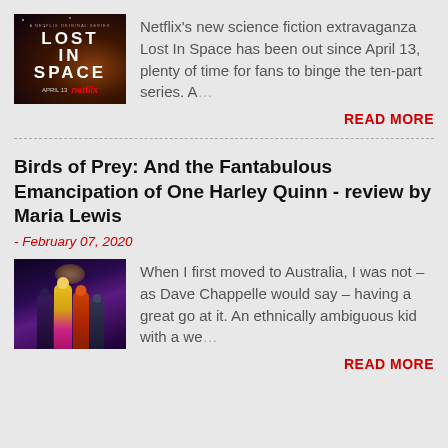[Figure (photo): Lost In Space Netflix promotional image with dark space background and show title]
Netflix's new science fiction extravaganza Lost In Space has been out since April 13, plenty of time for fans to binge the ten-part series. A…
READ MORE
Birds of Prey: And the Fantabulous Emancipation of One Harley Quinn - review by Maria Lewis
- February 07, 2020
[Figure (photo): Birds of Prey movie promotional image showing characters in colorful costumes]
When I first moved to Australia, I was not – as Dave Chappelle would say – having a great go at it. An ethnically ambiguous kid with a we…
READ MORE